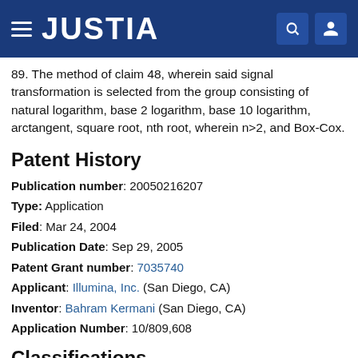JUSTIA
89. The method of claim 48, wherein said signal transformation is selected from the group consisting of natural logarithm, base 2 logarithm, base 10 logarithm, arctangent, square root, nth root, wherein n>2, and Box-Cox.
Patent History
Publication number: 20050216207
Type: Application
Filed: Mar 24, 2004
Publication Date: Sep 29, 2005
Patent Grant number: 7035740
Applicant: Illumina, Inc. (San Diego, CA)
Inventor: Bahram Kermani (San Diego, CA)
Application Number: 10/809,608
Classifications